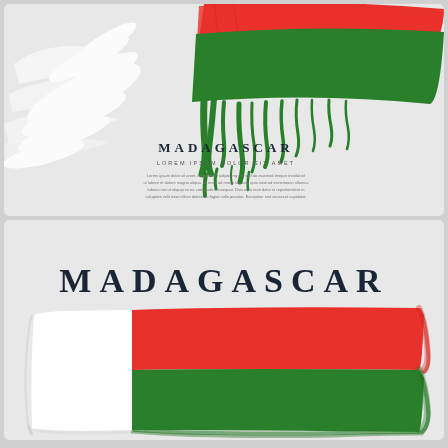[Figure (illustration): Top panel: Madagascar flag rendered as brush strokes on light gray background. White brush strokes on left side, red and green brush strokes on right/top area. Text 'MADAGASCAR' in spaced uppercase serif font, with lorem ipsum placeholder subtitle and body text below.]
[Figure (illustration): Bottom panel: Madagascar flag rendered as painted rectangular flag on light gray background. Text 'MADAGASCAR' in large spaced uppercase serif font at top. Flag shows white left vertical stripe, red top horizontal stripe, green bottom horizontal stripe with brush-painted edges.]